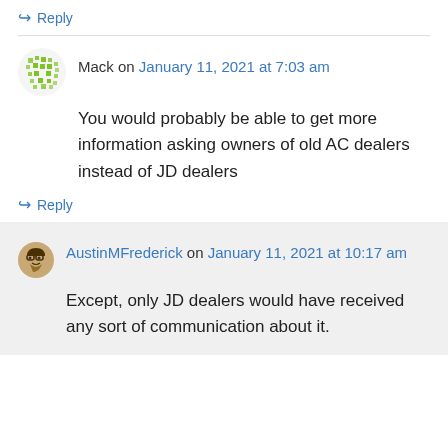↪ Reply
Mack on January 11, 2021 at 7:03 am
You would probably be able to get more information asking owners of old AC dealers instead of JD dealers
↪ Reply
AustinMFrederick on January 11, 2021 at 10:17 am
Except, only JD dealers would have received any sort of communication about it.